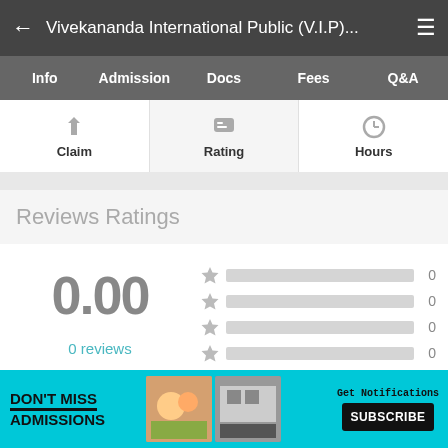← Vivekananda International Public (V.I.P)...
Info  Admission  Docs  Fees  Q&A
Claim   Rating   Hours
Reviews Ratings
0.00
0 reviews
[Figure (infographic): Star rating bars showing 4 star levels each with 0 count and empty grey bars]
[Figure (infographic): Advertisement banner: DON'T MISS ADMISSIONS with school images and SUBSCRIBE button]
Help  FOLLOW  Nearby